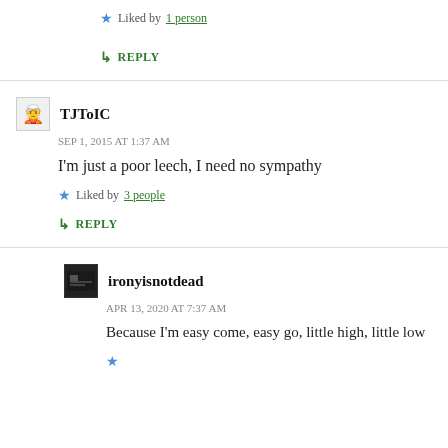Liked by 1 person
REPLY
TJToIC
SEP 1, 2015 AT 1:37 AM
I'm just a poor leech, I need no sympathy
Liked by 3 people
REPLY
ironyisnotdead
APR 13, 2020 AT 7:37 AM
Because I'm easy come, easy go, little high, little low